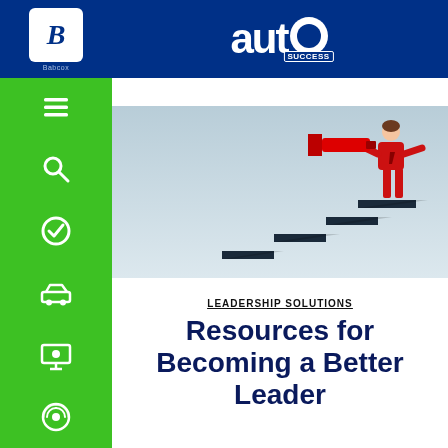auto SUCCESS
[Figure (illustration): A red-suited businessman standing on top of ascending dark steps/stairs, looking through a red megaphone/telescope toward the horizon, on a light blue-grey background. Illustrates leadership and vision.]
LEADERSHIP SOLUTIONS
Resources for Becoming a Better Leader